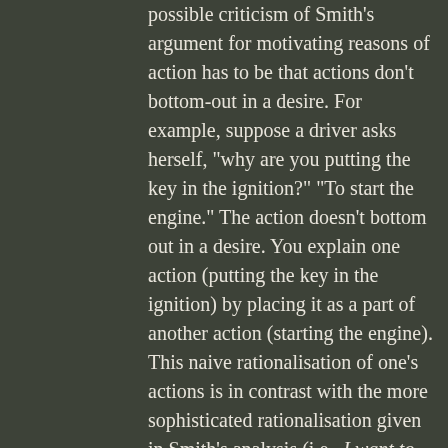possible criticism of Smith's argument for motivating reasons of action has to be that actions don't bottom-out in a desire. For example, suppose a driver asks herself, "why are you putting the key in the ignition?" "To start the engine." The action doesn't bottom out in a desire. You explain one action (putting the key in the ignition) by placing it as a part of another action (starting the engine). This naive rationalisation of one's actions is in contrast with the more sophisticated rationalisation given in Smith's analysis (i.e., I want to start the engine). So, when you think you've got a reason for action that seems to